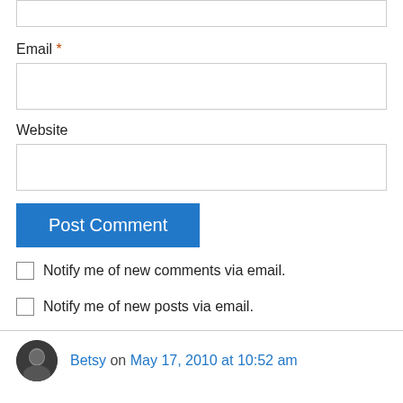Email *
Website
Post Comment
Notify me of new comments via email.
Notify me of new posts via email.
Betsy on May 17, 2010 at 10:52 am